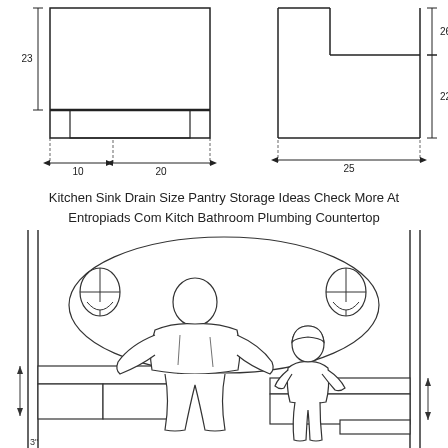[Figure (engineering-diagram): Two technical cross-section diagrams of kitchen sink drain dimensions. Left diagram shows dimensions: 23 height, 10 and 20 width measurements. Right diagram shows dimensions: 26, 22 height, 25 width measurements.]
Kitchen Sink Drain Size Pantry Storage Ideas Check More At Entropiads Com Kitch Bathroom Plumbing Countertop
[Figure (engineering-diagram): Architectural elevation drawing showing two people (one adult, one child) standing at a kitchen counter/sink area. The adult figure is seen from behind leaning over a countertop. A large oval represents the reach/work zone. Two wall-mounted fixtures visible on left and right walls. Dimension arrows shown on left and right sides indicating counter heights.]